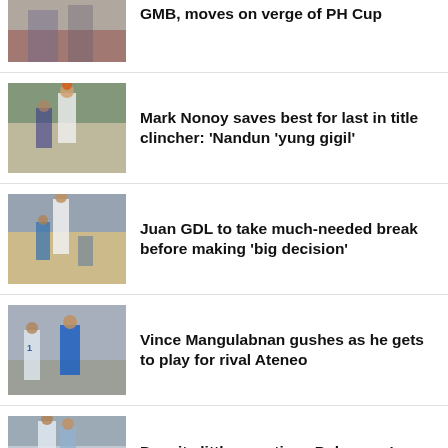[Figure (photo): Basketball game photo, partial view at top of page]
GMB, moves on verge of PH Cup
[Figure (photo): Basketball player shooting over defender in crowded arena]
Mark Nonoy saves best for last in title clincher: 'Nandun 'yung gigil'
[Figure (photo): Basketball player taking a shot with defender nearby]
Juan GDL to take much-needed break before making 'big decision'
[Figure (photo): Basketball coach in blue shirt with players in arena]
Vince Mangulabnan gushes as he gets to play for rival Ateneo
[Figure (photo): Basketball players in close contact, partial view at bottom]
Despite little prep time, Polvorosa's